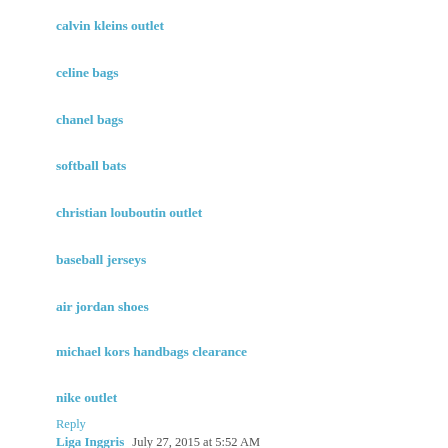calvin kleins outlet
celine bags
chanel bags
softball bats
christian louboutin outlet
baseball jerseys
air jordan shoes
michael kors handbags clearance
nike outlet
Reply
Liga Inggris  July 27, 2015 at 5:52 AM